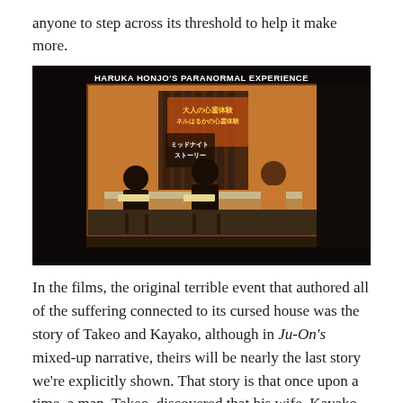anyone to step across its threshold to help it make more.
[Figure (photo): A television screen showing a Japanese TV program. The screen displays text reading 'HARUKA HONJO'S PARANORMAL EXPERIENCE' at the top. Below that is Japanese text on the TV screen. Three people are seated at a table in what appears to be a talk show set with a striped backdrop.]
In the films, the original terrible event that authored all of the suffering connected to its cursed house was the story of Takeo and Kayako, although in Ju-On's mixed-up narrative, theirs will be nearly the last story we're explicitly shown. That story is that once upon a time, a man, Takeo, discovered that his wife, Kayako, had feelings for another man. Just feelings, mind. Believing he had been cuckolded